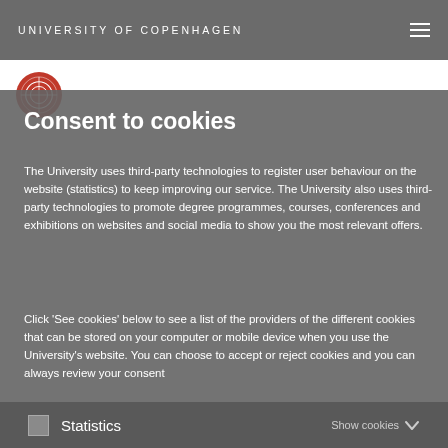UNIVERSITY OF COPENHAGEN
Consent to cookies
The University uses third-party technologies to register user behaviour on the website (statistics) to keep improving our service. The University also uses third-party technologies to promote degree programmes, courses, conferences and exhibitions on websites and social media to show you the most relevant offers.
Click 'See cookies' below to see a list of the providers of the different cookies that can be stored on your computer or mobile device when you use the University's website. You can choose to accept or reject cookies and you can always review your consent later.
Statistics    Show cookies